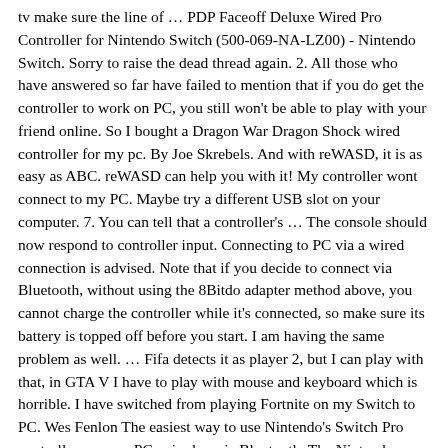tv make sure the line of … PDP Faceoff Deluxe Wired Pro Controller for Nintendo Switch (500-069-NA-LZ00) - Nintendo Switch. Sorry to raise the dead thread again. 2. All those who have answered so far have failed to mention that if you do get the controller to work on PC, you still won't be able to play with your friend online. So I bought a Dragon War Dragon Shock wired controller for my pc. By Joe Skrebels. And with reWASD, it is as easy as ABC. reWASD can help you with it! My controller wont connect to my PC. Maybe try a different USB slot on your computer. 7. You can tell that a controller's … The console should now respond to controller input. Connecting to PC via a wired connection is advised. Note that if you decide to connect via Bluetooth, without using the 8Bitdo adapter method above, you cannot charge the controller while it's connected, so make sure its battery is topped off before you start. I am having the same problem as well. … Fifa detects it as player 2, but I can play with that, in GTA V I have to play with mouse and keyboard which is horrible. I have switched from playing Fortnite on my Switch to PC. Wes Fenlon The easiest way to use Nintendo's Switch Pro controller on your PC, wired or via Bluetooth. The Nintendo Switch Pro Controller supports standard Bluetooth, allowing you to pair it wirelessly with your PC. You only need to follow these steps if you're not using the Switch Pro Controller through Steam. From the controller settings page, you can also calibrate your controller's gyro sensor and joysticks by clicking Calibrate, but